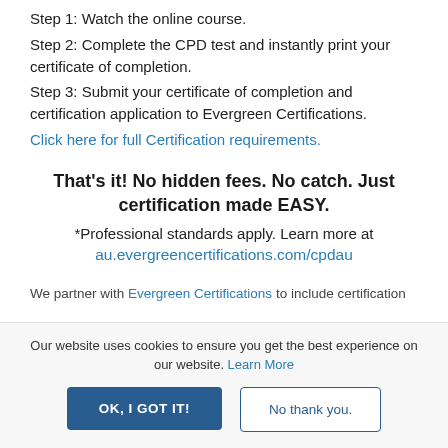Step 1: Watch the online course.
Step 2: Complete the CPD test and instantly print your certificate of completion.
Step 3: Submit your certificate of completion and certification application to Evergreen Certifications.
Click here for full Certification requirements.
That's it! No hidden fees. No catch. Just certification made EASY.
*Professional standards apply. Learn more at au.evergreencertifications.com/cpdau
We partner with Evergreen Certifications to include certification
Our website uses cookies to ensure you get the best experience on our website. Learn More
OK, I GOT IT!
No thank you.